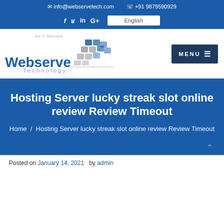✉ info@webservetech.com  ☎ +91 9879590929
f  Twitter  in  G+  English
[Figure (logo): Webserve Technology logo with globe graphic and 'An IT Services' tagline]
Hosting Server lucky streak slot online review Review Timeout
Home / Hosting Server lucky streak slot online review Review Timeout
Posted on January 14, 2021 by admin